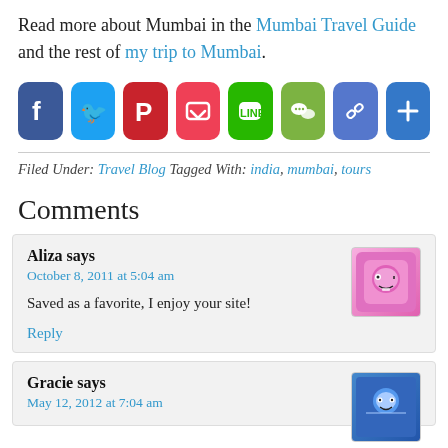Read more about Mumbai in the Mumbai Travel Guide and the rest of my trip to Mumbai.
[Figure (infographic): Row of social share icons: Facebook, Twitter, Pinterest, Pocket, LINE, WeChat, Copy Link, Add]
Filed Under: Travel Blog Tagged With: india, mumbai, tours
Comments
Aliza says
October 8, 2011 at 5:04 am
Saved as a favorite, I enjoy your site!
Reply
Gracie says
May 12, 2012 at 7:04 am